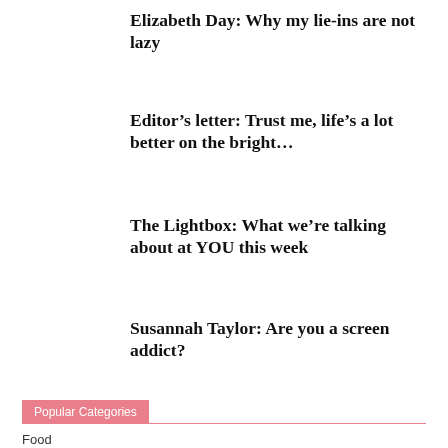Elizabeth Day: Why my lie-ins are not lazy
Editor’s letter: Trust me, life’s a lot better on the bright…
The Lightbox: What we’re talking about at YOU this week
Susannah Taylor: Are you a screen addict?
Popular Categories
Food